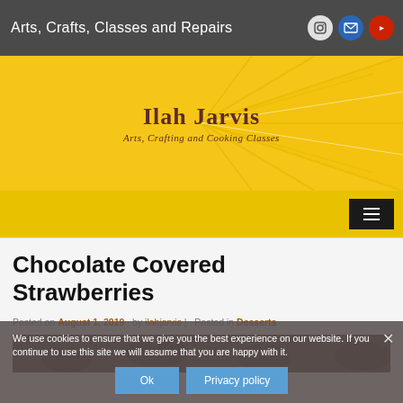Arts, Crafts, Classes and Repairs
[Figure (illustration): Yellow citrus-themed banner with text 'Ilah Jarvis - Arts, Crafting and Cooking Classes']
Chocolate Covered Strawberries
Posted on August 1, 2019 by ilahjarvis | Posted in Desserts
We use cookies to ensure that we give you the best experience on our website. If you continue to use this site we will assume that you are happy with it.
[Figure (photo): Photo of chocolate covered strawberries]